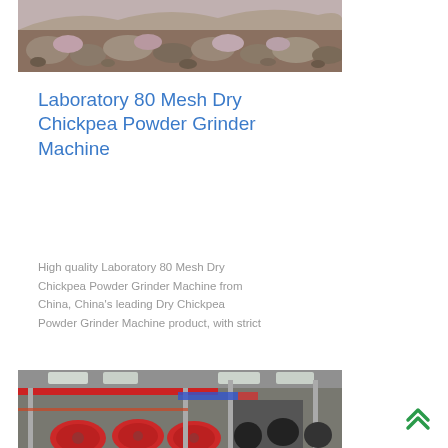[Figure (photo): Photograph of rocks and rubble/gravel outdoor scene]
Laboratory 80 Mesh Dry Chickpea Powder Grinder Machine
High quality Laboratory 80 Mesh Dry Chickpea Powder Grinder Machine from China, China's leading Dry Chickpea Powder Grinder Machine product, with strict
[Figure (photo): Photograph of industrial factory interior with large red machinery drums and equipment]